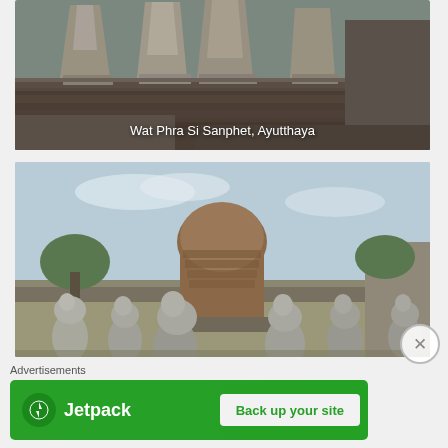[Figure (photo): Wat Phra Si Sanphet ancient temple ruins with multiple prangs/spires, Ayutthaya, Thailand]
Wat Phra Si Sanphet, Ayutthaya
[Figure (photo): Ancient brick stupa/chedi surrounded by stone lion guardian statues at a temple ruin in Thailand]
Advertisements
[Figure (other): Jetpack advertisement banner with lightning bolt logo and 'Back up your site' button]